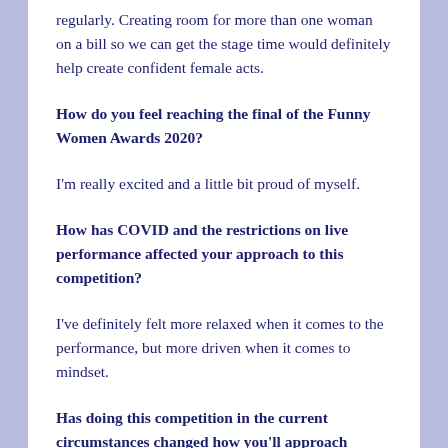regularly. Creating room for more than one woman on a bill so we can get the stage time would definitely help create confident female acts.
How do you feel reaching the final of the Funny Women Awards 2020?
I'm really excited and a little bit proud of myself.
How has COVID and the restrictions on live performance affected your approach to this competition?
I've definitely felt more relaxed when it comes to the performance, but more driven when it comes to mindset.
Has doing this competition in the current circumstances changed how you'll approach